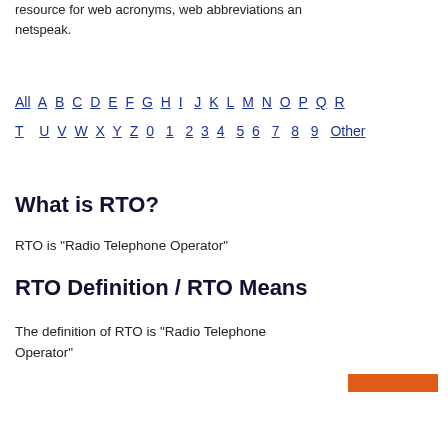resource for web acronyms, web abbreviations and netspeak.
All A B C D E F G H I J K L M N O P Q R T U V W X Y Z 0 1 2 3 4 5 6 7 8 9 Other
What is RTO?
RTO is "Radio Telephone Operator"
RTO Definition / RTO Means
The definition of RTO is "Radio Telephone Operator"